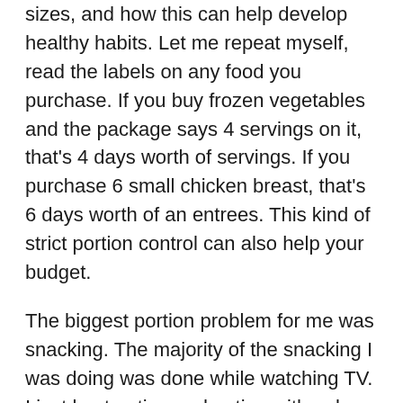sizes, and how this can help develop healthy habits. Let me repeat myself, read the labels on any food you purchase. If you buy frozen vegetables and the package says 4 servings on it, that's 4 days worth of servings. If you purchase 6 small chicken breast, that's 6 days worth of an entrees. This kind of strict portion control can also help your budget.
The biggest portion problem for me was snacking. The majority of the snacking I was doing was done while watching TV. I just kept eating and eating with only being finished when the bag or container was empty. Those days are over, so I actually follow the portions sizes . I love peanuts, almonds, and cashews for example. If you read the can of almonds for instance, the serving size may say 28 pieces. Guess what, that's what you eat. A typical snack for me before bed is snack nuts,